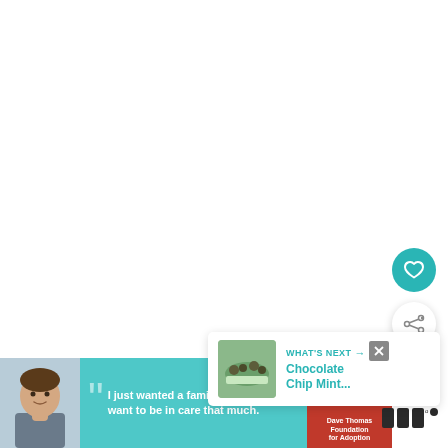[Figure (illustration): Floating heart favorite button (teal circle with white heart icon) and share button (white circle with share icon) on right side of page]
[Figure (screenshot): What's Next panel showing thumbnail of Chocolate Chip Mint recipe with teal text label 'WHAT'S NEXT' and arrow]
[Figure (photo): Advertisement banner for Dave Thomas Foundation for Adoption featuring a boy with quotation 'I just wanted a family. I didn't want to be in care that much.' with teal background and DTFA logo]
[Figure (logo): Tastemade logo in dark/black on right side of page]